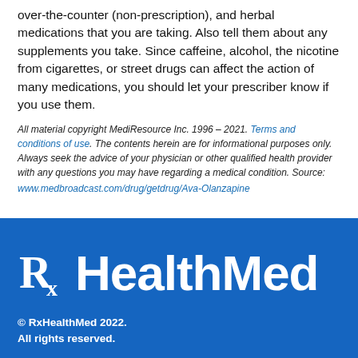over-the-counter (non-prescription), and herbal medications that you are taking. Also tell them about any supplements you take. Since caffeine, alcohol, the nicotine from cigarettes, or street drugs can affect the action of many medications, you should let your prescriber know if you use them.
All material copyright MediResource Inc. 1996 – 2021. Terms and conditions of use. The contents herein are for informational purposes only. Always seek the advice of your physician or other qualified health provider with any questions you may have regarding a medical condition. Source: www.medbroadcast.com/drug/getdrug/Ava-Olanzapine
[Figure (logo): RxHealthMed logo in white on blue background with Rx symbol]
© RxHealthMed 2022. All rights reserved.